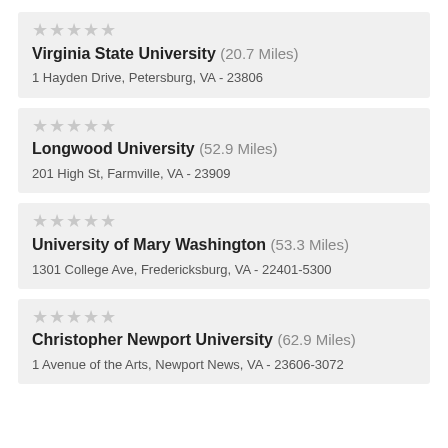Virginia State University (20.7 Miles) — 1 Hayden Drive, Petersburg, VA - 23806
Longwood University (52.9 Miles) — 201 High St, Farmville, VA - 23909
University of Mary Washington (53.3 Miles) — 1301 College Ave, Fredericksburg, VA - 22401-5300
Christopher Newport University (62.9 Miles) — 1 Avenue of the Arts, Newport News, VA - 23606-3072